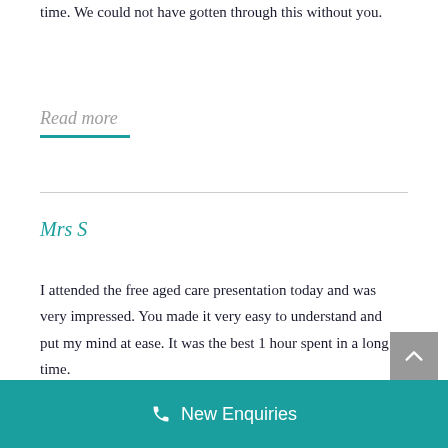time. We could not have gotten through this without you.
Read more
Mrs S
I attended the free aged care presentation today and was very impressed. You made it very easy to understand and put my mind at ease. It was the best 1 hour spent in a long time.
New Enquiries